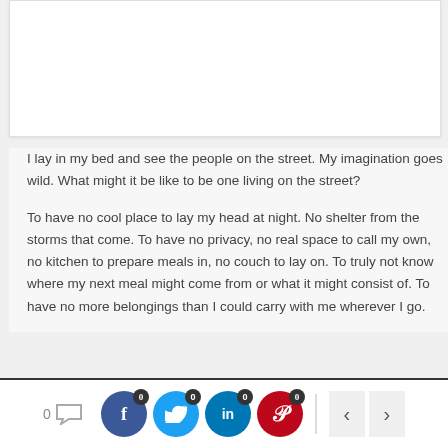[Figure (other): White image/photo placeholder area at the top of the page]
I lay in my bed and see the people on the street. My imagination goes wild. What might it be like to be one living on the street?
To have no cool place to lay my head at night. No shelter from the storms that come. To have no privacy, no real space to call my own, no kitchen to prepare meals in, no couch to lay on. To truly not know where my next meal might come from or what it might consist of. To have no more belongings than I could carry with me wherever I go.
0 [comment icon] [Facebook 0] [Twitter 0] [LinkedIn 0] [Pinterest 0] [< >]